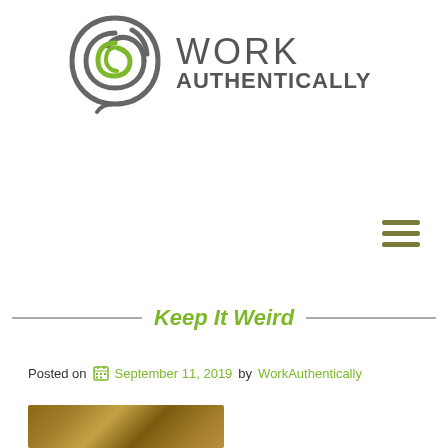[Figure (logo): Work Authentically logo: circular swirl graphic in green/grey with text WORK AUTHENTICALLY]
[Figure (other): Hamburger menu icon (three horizontal lines) in olive/dark green]
Keep It Weird
Posted on September 11, 2019 by WorkAuthentically
[Figure (photo): Partial photo at bottom of page, appears to show a wooden or natural surface in brown/golden tones]